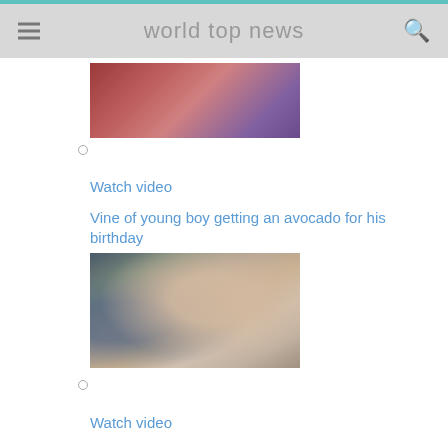world top news
[Figure (photo): Partial view of a photo showing people, cropped at the top of the page]
○
Watch video
Vine of young boy getting an avocado for his birthday
[Figure (photo): A young boy sitting and holding an avocado, looking at it]
○
Watch video